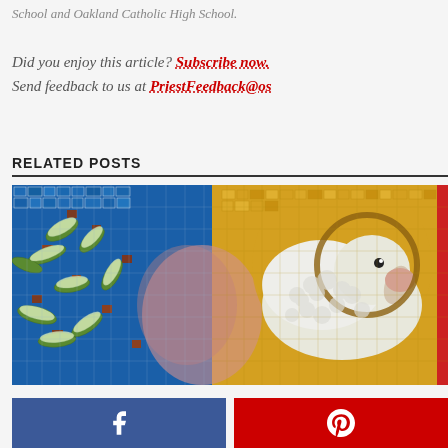School and Oakland Catholic High School.
Did you enjoy this article? Subscribe now.
Send feedback to us at PriestFeedback@os
RELATED POSTS
[Figure (photo): Mosaic artwork depicting a white lamb (Agnus Dei) with a golden halo against a blue mosaic background with decorative leaves and vines]
[Figure (infographic): Social media share buttons: Facebook (blue) and Pinterest (red)]